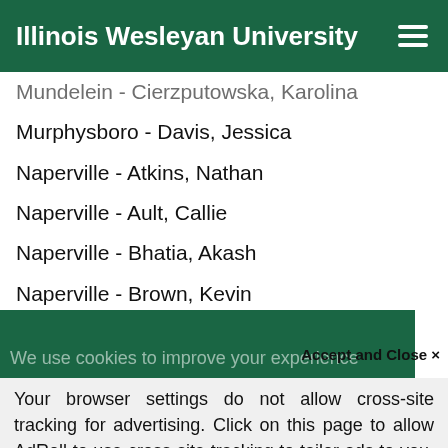Illinois Wesleyan University
Mundelein - Cierzputowska, Karolina
Murphysboro - Davis, Jessica
Naperville - Atkins, Nathan
Naperville - Ault, Callie
Naperville - Bhatia, Akash
Naperville - Brown, Kevin
Naperville - Conne, Elaine
We use cookies to improve your experience on our website. By continuing to use our site...
Accept and Close ✕
Your browser settings do not allow cross-site tracking for advertising. Click on this page to allow AdRoll to use cross-site tracking to tailor ads to you. Learn more or opt out of this AdRoll tracking by clicking here. This message only appears once.